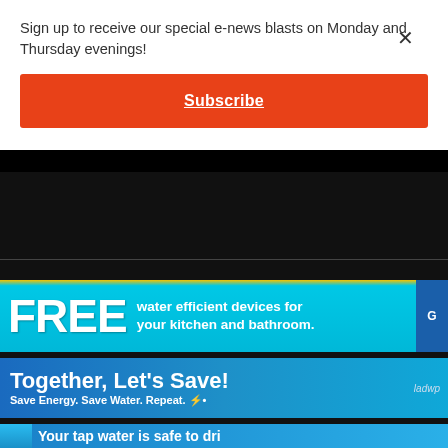Sign up to receive our special e-news blasts on Monday and Thursday evenings!
Subscribe
[Figure (infographic): Dark background section with horizontal divider line]
[Figure (infographic): Banner ad: FREE water efficient devices for your kitchen and bathroom.]
[Figure (infographic): Banner ad: Together, Let's Save! Save Energy. Save Water. Repeat. ladwp]
[Figure (infographic): Banner ad: Your tap water is safe to drink (partially visible)]